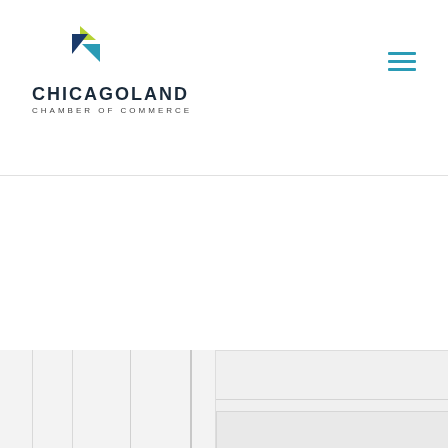[Figure (logo): Chicagoland Chamber of Commerce logo with geometric triangular icon in blue, teal, and green/yellow colors above the text CHICAGOLAND CHAMBER OF COMMERCE]
[Figure (other): Hamburger menu icon with three horizontal teal/blue lines in the top right corner]
[Figure (other): Screenshot of a website with layered nested rectangular panels in shades of light gray converging toward a dark navy/slate blue panel in the bottom right, with a left sidebar containing vertical gray lines]